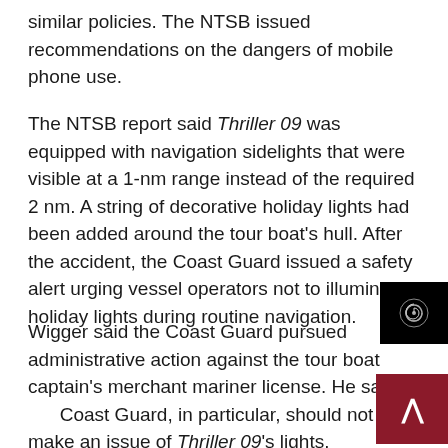similar policies. The NTSB issued recommendations on the dangers of mobile phone use.
The NTSB report said Thriller 09 was equipped with navigation sidelights that were visible at a 1-nm range instead of the required 2 nm. A string of decorative holiday lights had been added around the tour boat's hull. After the accident, the Coast Guard issued a safety alert urging vessel operators not to illuminate holiday lights during routine navigation.
Wigger said the Coast Guard pursued administrative action against the tour boat captain's merchant mariner license. He said the Coast Guard, in particular, should not make an issue of Thriller 09's lights.